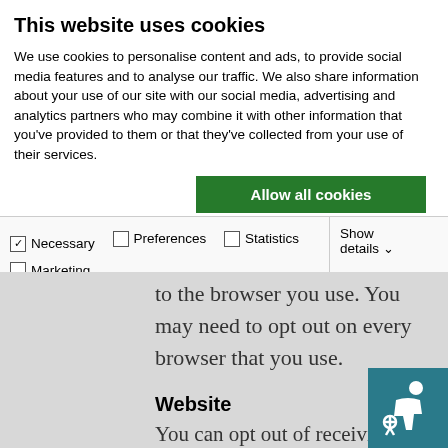This website uses cookies
We use cookies to personalise content and ads, to provide social media features and to analyse our traffic. We also share information about your use of our site with our social media, advertising and analytics partners who may combine it with other information that you've provided to them or that they've collected from your use of their services.
Allow all cookies
Allow selection
Use necessary cookies only
| ✓ Necessary | Preferences | Statistics | Show details |
| Marketing |  |  |  |
to the browser you use. You may need to opt out on every browser that you use.
Website
You can opt out of receiving ads that are